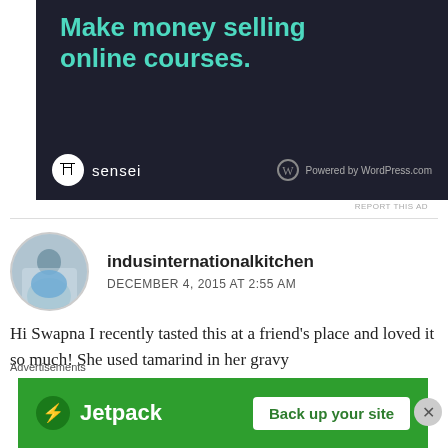[Figure (screenshot): Dark advertisement banner for Sensei plugin: 'Make money selling online courses.' with Sensei logo and 'Powered by WordPress.com']
REPORT THIS AD
indusinternationalkitchen
DECEMBER 4, 2015 AT 2:55 AM
Hi Swapna I recently tasted this at a friend's place and loved it so much! She used tamarind in her gravy
Advertisements
[Figure (screenshot): Jetpack advertisement banner: 'Back up your site' button on green background]